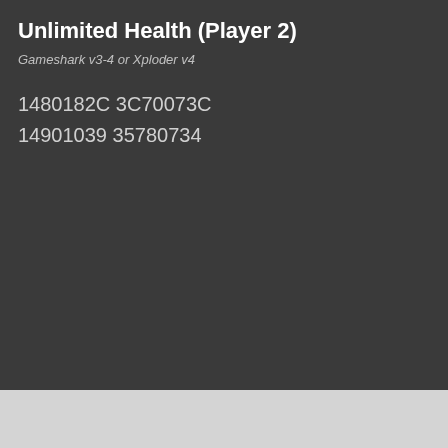Unlimited Health (Player 2)
Gameshark v3-4 or Xploder v4
1480182C 3C70073C
14901039 35780734